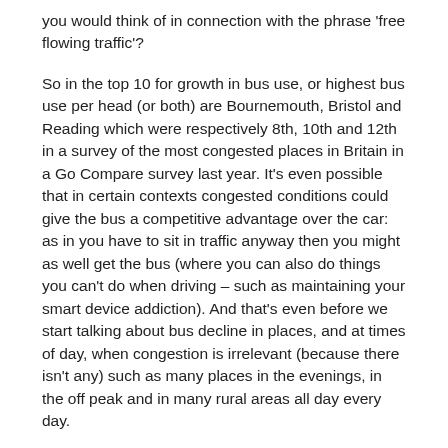you would think of in connection with the phrase 'free flowing traffic'?
So in the top 10 for growth in bus use, or highest bus use per head (or both) are Bournemouth, Bristol and Reading which were respectively 8th, 10th and 12th in a survey of the most congested places in Britain in a Go Compare survey last year. It's even possible that in certain contexts congested conditions could give the bus a competitive advantage over the car: as in you have to sit in traffic anyway then you might as well get the bus (where you can also do things you can't do when driving – such as maintaining your smart device addiction). And that's even before we start talking about bus decline in places, and at times of day, when congestion is irrelevant (because there isn't any) such as many places in the evenings, in the off peak and in many rural areas all day every day.
In our recent report we sought to take a more objective, look at all the factors that are relevant when looking at what's driving bus patronage change. I won't go through them all here (and there are few surprises in the headings) but it's interesting how